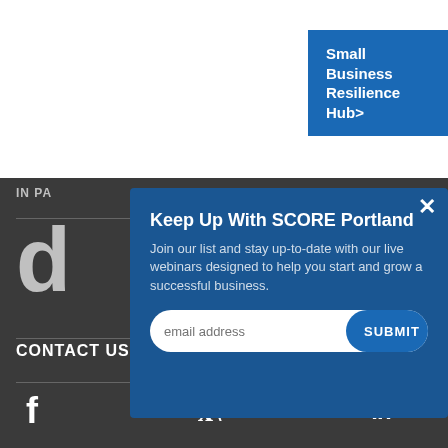Small Business Resilience Hub>
IN PARTNERSHIP WITH
d
CONTACT US
[Figure (infographic): Social media icons: Facebook (f), Twitter (bird), LinkedIn (in)]
Keep Up With SCORE Portland
Join our list and stay up-to-date with our live webinars designed to help you start and grow a successful business.
email address
SUBMIT